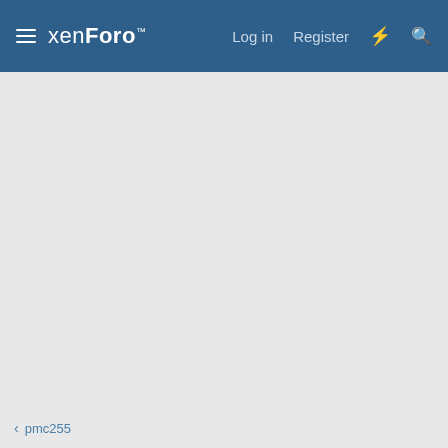xenForo | Log in | Register
pmc255